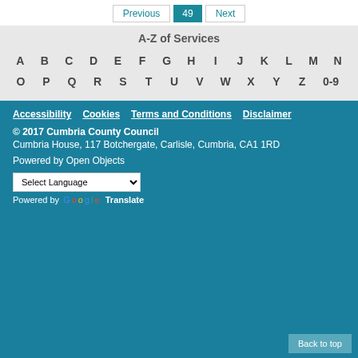Previous | 49 | Next
A-Z of Services
A B C D E F G H I J K L M N O P Q R S T U V W X Y Z 0-9
Accessibility   Cookies   Terms and Conditions   Disclaimer
© 2017 Cumbria County Council
Cumbria House, 117 Botchergate, Carlisle, Cumbria, CA1 1RD
Powered by Open Objects
Select Language
Powered by Google Translate
Back to top